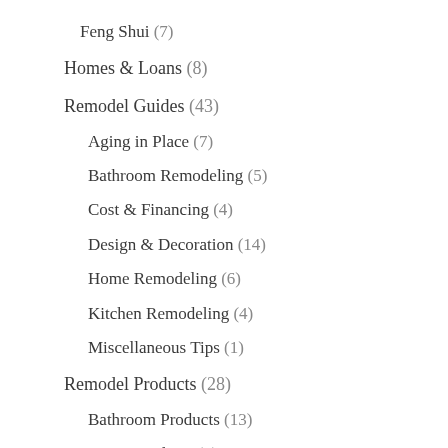Feng Shui (7)
Homes & Loans (8)
Remodel Guides (43)
Aging in Place (7)
Bathroom Remodeling (5)
Cost & Financing (4)
Design & Decoration (14)
Home Remodeling (6)
Kitchen Remodeling (4)
Miscellaneous Tips (1)
Remodel Products (28)
Bathroom Products (13)
Home Products (3)